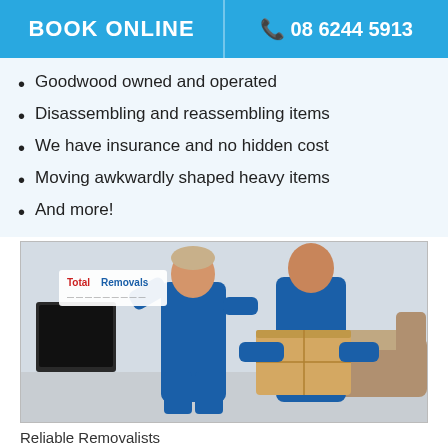BOOK ONLINE   08 6244 5913
Goodwood owned and operated
Disassembling and reassembling items
We have insurance and no hidden cost
Moving awkwardly shaped heavy items
And more!
[Figure (photo): Two removalists in blue uniforms — one carrying a large cardboard box, another in the background — inside a living room. TotalRemovals logo visible in top-left corner of the image.]
Reliable Removalists
Over a decade of experience